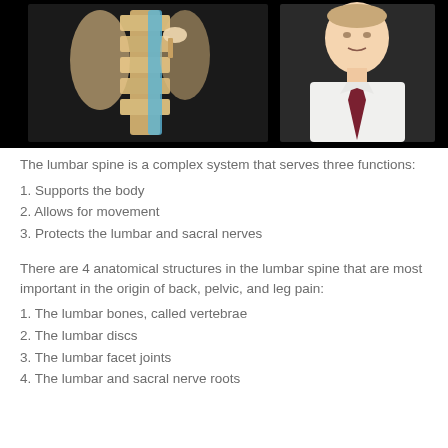[Figure (photo): Video thumbnail with a black background showing two images: on the left, a medical illustration of the lumbar spine anatomy with blue and yellow highlights, and on the right, a photo of a man in a white shirt and dark tie presenting/speaking.]
The lumbar spine is a complex system that serves three functions:
1. Supports the body
2. Allows for movement
3. Protects the lumbar and sacral nerves
There are 4 anatomical structures in the lumbar spine that are most important in the origin of back, pelvic, and leg pain:
1. The lumbar bones, called vertebrae
2. The lumbar discs
3. The lumbar facet joints
4. The lumbar and sacral nerve roots